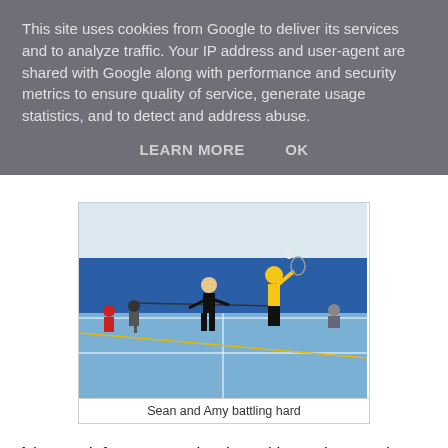This site uses cookies from Google to deliver its services and to analyze traffic. Your IP address and user-agent are shared with Google along with performance and security metrics to ensure quality of service, generate usage statistics, and to detect and address abuse.
LEARN MORE    OK
[Figure (photo): Indoor badminton court with several players. A player in a yellow shirt appears to be smashing the shuttlecock while a player in black is in ready position nearby. Other players and spectators are visible in the background.]
Sean and Amy battling hard
A heavy defeat to start the day, with another tough match versus Gloucestershire to follow.
In the singles, again Tyler and James lost out to strong